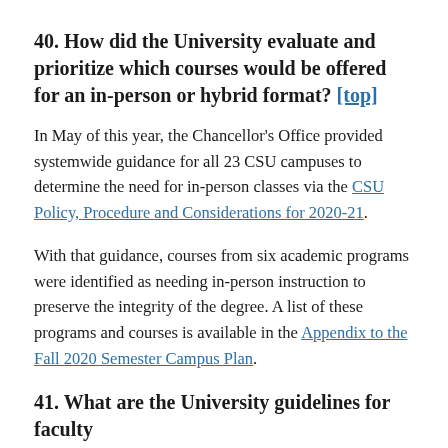40. How did the University evaluate and prioritize which courses would be offered for an in-person or hybrid format? [top]
In May of this year, the Chancellor's Office provided systemwide guidance for all 23 CSU campuses to determine the need for in-person classes via the CSU Policy, Procedure and Considerations for 2020-21.
With that guidance, courses from six academic programs were identified as needing in-person instruction to preserve the integrity of the degree. A list of these programs and courses is available in the Appendix to the Fall 2020 Semester Campus Plan.
41. What are the University guidelines for faculty